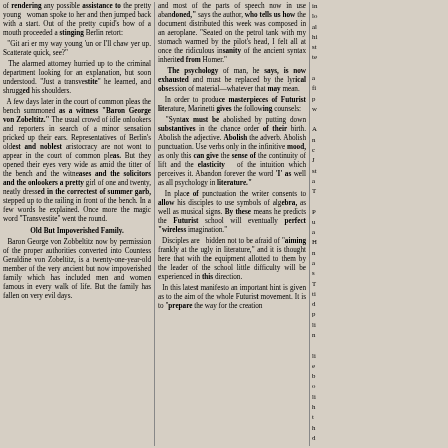of rendering any possible assistance to the pretty young woman spoke to her and then jumped back with a start. Out of the pretty cupid's bow of a mouth proceeded a stinging Berlin retort: "Git ari er my way young 'un or I'll chaw yer up. Scatterate quick, see?" The alarmed attorney hurried up to the criminal department looking for an explanation, but soon understood. "Just a transvestite" he learned, and shrugged his shoulders. A few days later in the court of common pleas the bench summoned as a witness "Baron George von Zobeltitz." The usual crowd of idle onlookers and reporters in search of a minor sensation pricked up their ears. Representatives of Berlin's oldest and noblest aristocracy are not wont to appear in the court of common pleas. But they opened their eyes very wide as amid the titter of the bench and the witnesses and the solicitors and the onlookers a pretty girl of one and twenty, neatly dressed in the correctest of summer garb, stepped up to the railing in front of the bench. In a few words he explained. Once more the magic word "Transvestite" went the round.
Old But Impoverished Family.
Baron George von Zobbeltitz now by permission of the proper authorities converted into Countess Geraldine von Zobeltitz, is a twenty-one-year-old member of the very ancient but now impoverished family which has included men and women famous in every walk of life. But the family has fallen on very evil days.
and most of the parts of speech now in use abandoned," says the author, who tells us how the document distributed this week was composed in an aeroplane. "Seated on the petrol tank with my stomach warmed by the pilot's head, I felt all at once the ridiculous insanity of the ancient syntax inherited from Homer." The psychology of man, he says, is now exhausted and must be replaced by the lyrical obsession of material—whatever that may mean. In order to produce masterpieces of Futurist literature, Marinetti gives the following counsels: "Syntax must be abolished by putting down substantives in the chance order of their birth. Abolish the adjective. Abolish the adverb. Abolish punctuation. Use verbs only in the infinitive mood, as only this can give the sense of the continuity of lift and the elasticity of the intuition which perceives it. Abandon forever the word 'I' as well as all psychology in literature." In place of punctuation the writer consents to allow his disciples to use symbols of algebra, as well as musical signs. By these means he predicts the Futurist school will eventually perfect "wireless imagination." Disciples are bidden not to be afraid of "aiming frankly at the ugly in literature," and it is thought here that with the equipment allotted to them by the leader of the school little difficulty will be experienced in this direction. In this latest manifesto an important hint is given as to the aim of the whole Futurist movement. It is to "prepare the way for the creation
in lo al hi st te a fi p w A n c J st a T P u a H n a s T ti d p li n li e b o li h t h d t